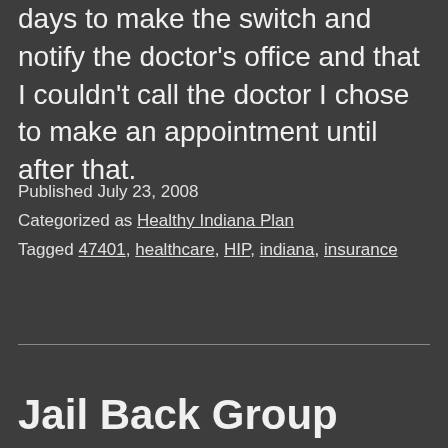days to make the switch and notify the doctor's office and that I couldn't call the doctor I chose to make an appointment until after that.
Published July 23, 2008
Categorized as Healthy Indiana Plan
Tagged 47401, healthcare, HIP, indiana, insurance
Jail Back Group